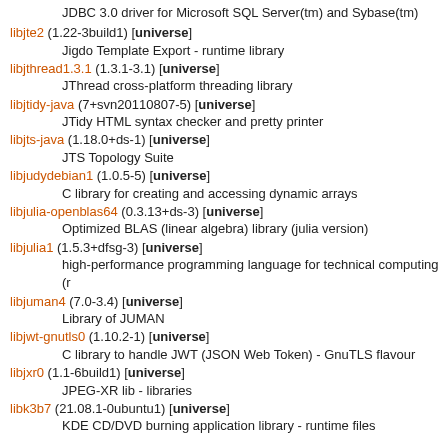JDBC 3.0 driver for Microsoft SQL Server(tm) and Sybase(tm)
libjte2 (1.22-3build1) [universe]
    Jigdo Template Export - runtime library
libjthread1.3.1 (1.3.1-3.1) [universe]
    JThread cross-platform threading library
libjtidy-java (7+svn20110807-5) [universe]
    JTidy HTML syntax checker and pretty printer
libjts-java (1.18.0+ds-1) [universe]
    JTS Topology Suite
libjudydebian1 (1.0.5-5) [universe]
    C library for creating and accessing dynamic arrays
libjulia-openblas64 (0.3.13+ds-3) [universe]
    Optimized BLAS (linear algebra) library (julia version)
libjulia1 (1.5.3+dfsg-3) [universe]
    high-performance programming language for technical computing (r
libjuman4 (7.0-3.4) [universe]
    Library of JUMAN
libjwt-gnutls0 (1.10.2-1) [universe]
    C library to handle JWT (JSON Web Token) - GnuTLS flavour
libjxr0 (1.1-6build1) [universe]
    JPEG-XR lib - libraries
libk3b7 (21.08.1-0ubuntu1) [universe]
    KDE CD/DVD burning application library - runtime files